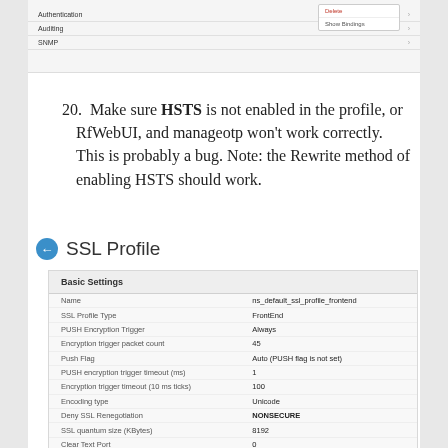[Figure (screenshot): Navigation menu screenshot showing Authentication, Auditing, SNMP items with a dropdown showing Delete and Show Bindings]
20. Make sure HSTS is not enabled in the profile, or RfWebUI, and manageotp won't work correctly. This is probably a bug. Note: the Rewrite method of enabling HSTS should work.
SSL Profile
[Figure (screenshot): SSL Profile Basic Settings panel showing configuration fields including Name: ns_default_ssl_profile_frontend, SSL Profile Type: FrontEnd, PUSH Encryption Trigger: Always, Encryption trigger packet count: 45, Push Flag: Auto (PUSH flag is not set), PUSH encryption trigger timeout (ms): 1, Encryption trigger timeout (10 ms ticks): 100, Encoding type: Unicode, Deny SSL Renegotiation: NONSECURE, SSL quantum size (KBytes): 8192, Clear Text Port: 0, DH Param: DISABLED, DH Key Expire Size Limit: DISABLED, Ephemeral RSA: ENABLED, Refresh Count: 0, Strict Signature Digest Check: DISABLED, HSTS: DISABLED (highlighted in blue), Max Age: 157680000, Include Subdomains: NO, SSL Sessions Interception: DISABLED, Non-Export Cert Key To Ensure Ssl Min...: ENABLED]